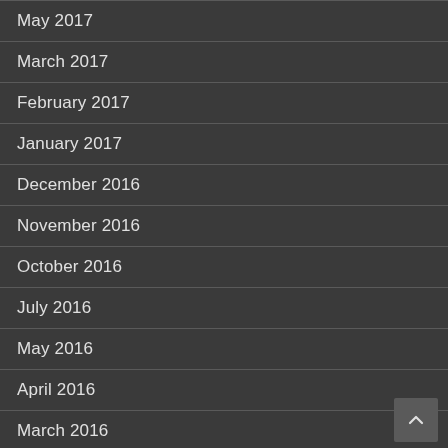May 2017
March 2017
February 2017
January 2017
December 2016
November 2016
October 2016
July 2016
May 2016
April 2016
March 2016